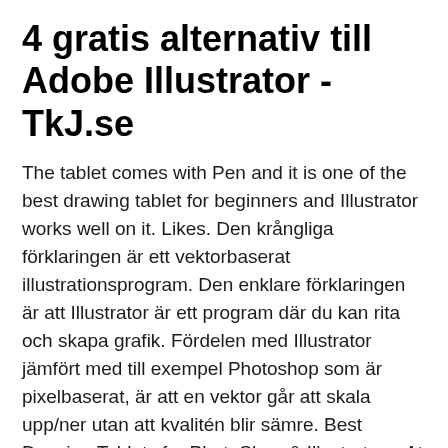4 gratis alternativ till Adobe Illustrator - TkJ.se
The tablet comes with Pen and it is one of the best drawing tablet for beginners and Illustrator works well on it. Likes. Den krångliga förklaringen är ett vektorbaserat illustrationsprogram. Den enklare förklaringen är att Illustrator är ett program där du kan rita och skapa grafik. Fördelen med Illustrator jämfört med till exempel Photoshop som är pixelbaserat, är att en vektor går att skala upp/ner utan att kvalitén blir sämre. Best Drawing Tablets for PhotoShop & Illustrator – At a Glance. XP-PEN Artist 15.6 Pro: Best Drawing Tablet for Photoshop & Illustrator with Screen; Wacom CTL4100 Intuos: Best Pen tablet for Photoshop & Adobe Illustrator (Under $100) iPad Air: Best Drawing Pad for